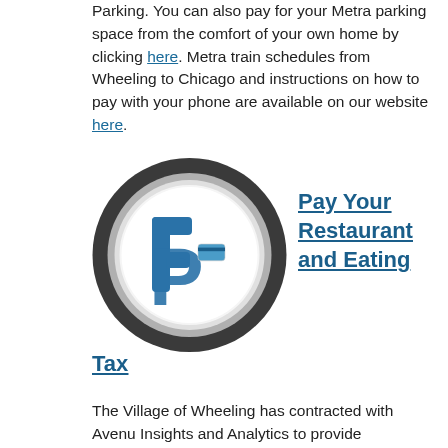Parking.  You can also pay for your Metra parking space from the comfort of your own home by clicking here.  Metra train schedules from Wheeling to Chicago and instructions on how to pay with your phone are available on our website here.
[Figure (logo): Circular icon with a blue parking/payment symbol on a white background with dark gray metallic ring border]
Pay Your Restaurant and Eating Tax
The Village of Wheeling has contracted with Avenu Insights and Analytics to provide administration of the Places for Eating 1% tax beginning with tax period May 2021. Avenu Insights will provide taxpayers with support for return filing, payment, compliance, and general support for your tax filing needs. Tax ID numbers will be required to set up online payment accounts. Payments may be made online using Visa, MasterCard or Discover credit cards at www.salestaxonline.com .
Website Support
Phone  (225) 215-0052
Toll Free  (877) 693-4435